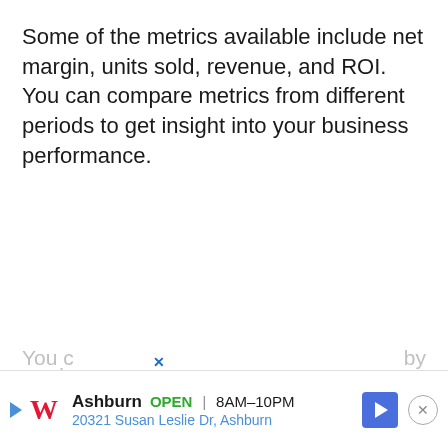Some of the metrics available include net margin, units sold, revenue, and ROI. You can compare metrics from different periods to get insight into your business performance.
You c... produ... by